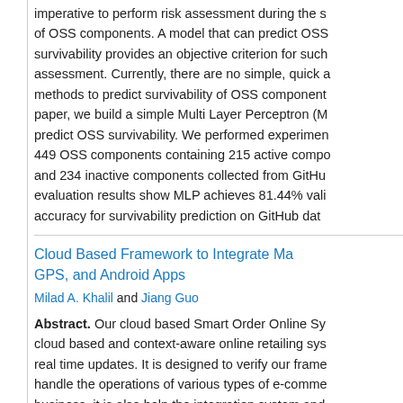imperative to perform risk assessment during the selection of OSS components. A model that can predict OSS survivability provides an objective criterion for such assessment. Currently, there are no simple, quick and methods to predict survivability of OSS components. In this paper, we build a simple Multi Layer Perceptron (MLP) to predict OSS survivability. We performed experiments on 449 OSS components containing 215 active components and 234 inactive components collected from GitHub. Our evaluation results show MLP achieves 81.44% validation accuracy for survivability prediction on GitHub data.
Cloud Based Framework to Integrate Maps, GPS, and Android Apps
Milad A. Khalil and Jiang Guo
Abstract. Our cloud based Smart Order Online System is a cloud based and context-aware online retailing system with real time updates. It is designed to verify our framework to handle the operations of various types of e-commerce business, it is also help the integration system and